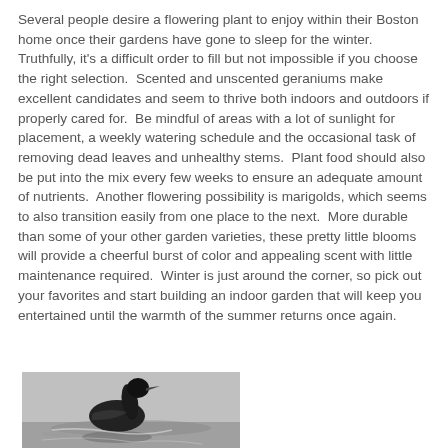Several people desire a flowering plant to enjoy within their Boston home once their gardens have gone to sleep for the winter.   Truthfully, it's a difficult order to fill but not impossible if you choose the right selection.  Scented and unscented geraniums make excellent candidates and seem to thrive both indoors and outdoors if properly cared for.  Be mindful of areas with a lot of sunlight for placement, a weekly watering schedule and the occasional task of removing dead leaves and unhealthy stems.  Plant food should also be put into the mix every few weeks to ensure an adequate amount of nutrients.  Another flowering possibility is marigolds, which seems to also transition easily from one place to the next.  More durable than some of your other garden varieties, these pretty little blooms will provide a cheerful burst of color and appealing scent with little maintenance required.  Winter is just around the corner, so pick out your favorites and start building an indoor garden that will keep you entertained until the warmth of the summer returns once again.
[Figure (photo): Black and white photograph showing a bird (appears to be a duck or goose) on water]